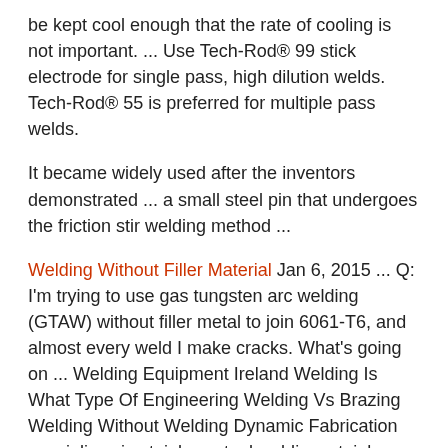be kept cool enough that the rate of cooling is not important. ... Use Tech-Rod® 99 stick electrode for single pass, high dilution welds. Tech-Rod® 55 is preferred for multiple pass welds.
It became widely used after the inventors demonstrated ... a small steel pin that undergoes the friction stir welding method ...
Welding Without Filler Material Jan 6, 2015 ... Q: I'm trying to use gas tungsten arc welding (GTAW) without filler metal to join 6061-T6, and almost every weld I make cracks. What's going on ... Welding Equipment Ireland Welding Is What Type Of Engineering Welding Vs Brazing Welding Without Welding Dynamic Fabrication specializes in stainless steel welding. stainless steels are